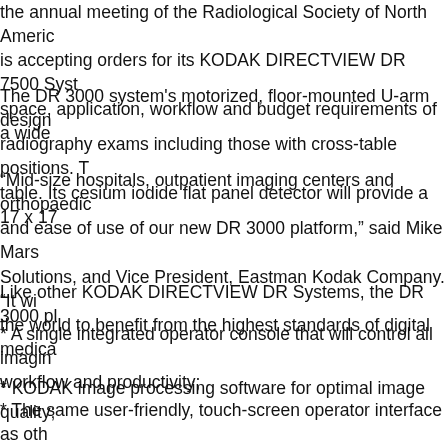the annual meeting of the Radiological Society of North America, is accepting orders for its KODAK DIRECTVIEW DR 7500 System... space, application, workflow and budget requirements of a wide...
The DR 3000 system's motorized, floor-mounted U-arm design... radiography exams including those with cross-table positions. T... table. Its cesium iodide flat panel detector will provide a 17 x 17...
“Mid-size hospitals, outpatient imaging centers and orthopaedic... and ease of use of our new DR 3000 platform,” said Mike Mars... Solutions, and Vice President, Eastman Kodak Company. “It wi... the world to benefit from the highest standards of digital medica...
Like other KODAK DIRECTVIEW DR Systems, the DR 3000 pl...
* A single integrated operator console that will control all imaging... workflow and productivity;
* KODAK image processing software for optimal image quality;
* The same user-friendly, touch-screen operator interface as oth... digital radiography systems, which can help increase productivi...
The KODAK DIRECTVIEW DR 7500 System offers a unique w...